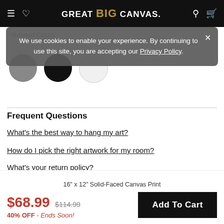GREAT BIG CANVAS.
We use cookies to enable your experience. By continuing to use this site, you are accepting our Privacy Policy.
Related Colors
Frequent Questions
What's the best way to hang my art?
How do I pick the right artwork for my room?
What's your return policy?
16" x 12" Solid-Faced Canvas Print
$68.99  $114.99  40% OFF - Ends Soon!
Add To Cart